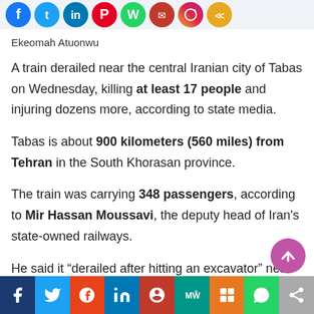[Figure (other): Row of circular social media share icons at top: Facebook (blue), Twitter (light blue), LinkedIn (blue), Pinterest (red), WhatsApp (green), Email (red), Instagram (gradient), Share (orange)]
Ekeomah Atuonwu
A train derailed near the central Iranian city of Tabas on Wednesday, killing at least 17 people and injuring dozens more, according to state media.
Tabas is about 900 kilometers (560 miles) from Tehran in the South Khorasan province.
The train was carrying 348 passengers, according to Mir Hassan Moussavi, the deputy head of Iran's state-owned railways.
He said it “derailed after hitting an excavator” near the track.
[Figure (other): Bottom social share bar with icons: Facebook (dark blue), Twitter (blue), Reddit (orange-red), LinkedIn (blue), Pinterest (red), MeWe (teal), Mix (orange), WhatsApp (green), Share (gray)]